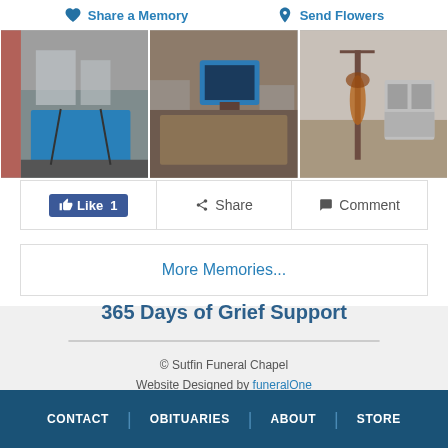[Figure (screenshot): Action bar with Share a Memory (heart icon) and Send Flowers (flower pin icon) buttons]
[Figure (photo): Photo strip showing three photos of funeral home interior rooms with tables, displays, and decorative items]
Like 1   Share   Comment
More Memories...
365 Days of Grief Support
Email Address
Subscribe
© Sutfin Funeral Chapel
Website Designed by funeralOne
CONTACT | OBITUARIES | ABOUT | STORE